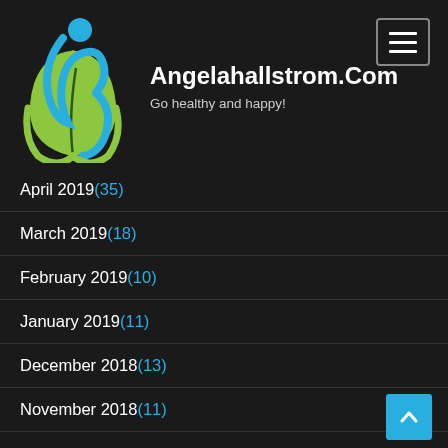[Figure (logo): Angelahallstrom.com logo — a stylized blue figure and a green leaf teardrop shape]
Angelahallstrom.Com
Go healthy and happy!
April 2019 (35)
March 2019 (18)
February 2019 (10)
January 2019 (11)
December 2018 (13)
November 2018 (11)
October 2018 (12)
September 2018 (11)
August 2018 (16)